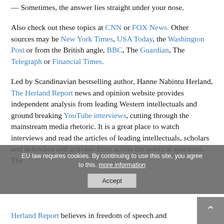— Sometimes, the answer lies straight under your nose.
Also check out these topics at CNN or FOX News. Other sources may be New York Times, USA Today, the Washington Post or from the British angle, BBC, The Guardian, The Telegraph or Financial Times.
Led by Scandinavian bestselling author, Hanne Nabintu Herland, The Herland Report news and opinion website provides independent analysis from leading Western intellectuals and ground breaking YouTube interviews, cutting through the mainstream media rhetoric. It is a great place to watch interviews and read the articles of leading intellectuals, scholars and defenders and activists from across the political spectrum. The Herland Report believes in freedom of speech and
EU law requires cookies. By continuing to use this site, you agree to this. more information  Accept